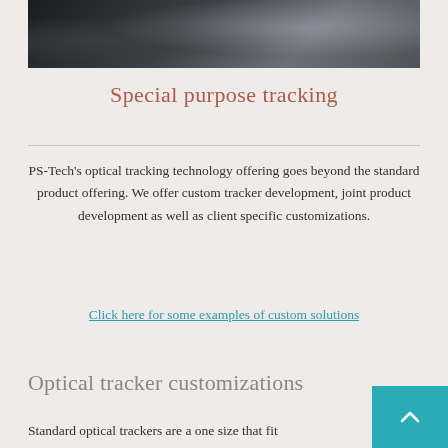[Figure (photo): Interior of a car showing dark leather seat with metallic headrest post and dashboard/windshield visible in background]
Special purpose tracking
PS-Tech's optical tracking technology offering goes beyond the standard product offering. We offer custom tracker development, joint product development as well as client specific customizations.
Click here for some examples of custom solutions
Optical tracker customizations
Standard optical trackers are a one size that fit